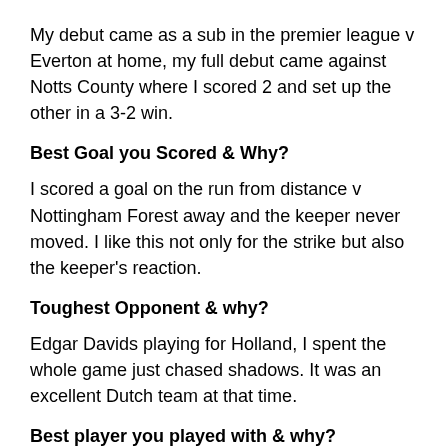My debut came as a sub in the premier league v Everton at home, my full debut came against Notts County where I scored 2 and set up the other in a 3-2 win.
Best Goal you Scored & Why?
I scored a goal on the run from distance v Nottingham Forest away and the keeper never moved. I like this not only for the strike but also the keeper's reaction.
Toughest Opponent & why?
Edgar Davids playing for Holland, I spent the whole game just chased shadows. It was an excellent Dutch team at that time.
Best player you played with & why?